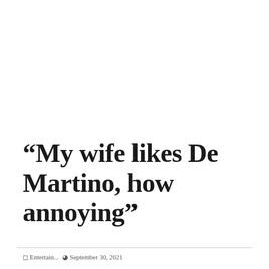“My wife likes De Martino, how annoying”
E Entertain... @ September 30, 2021